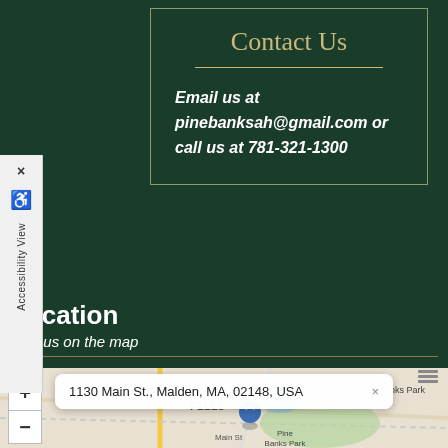Accessibility View
Contact Us
Email us at pinebanksah@gmail.com or call us at 781-321-1300
Location
Find us on the map
[Figure (map): Interactive map showing location at 1130 Main St., Malden, MA, 02148, USA near Main St and Pine Banks Park. Map includes zoom controls (+/-) and a location pin marker.]